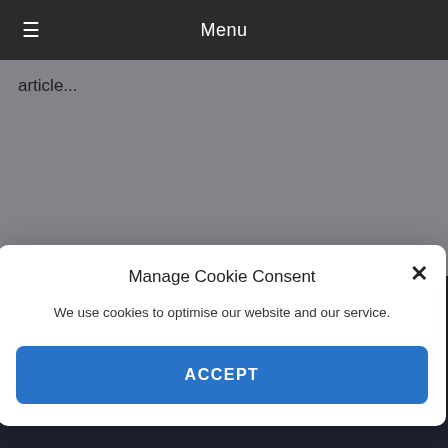≡  Menu
article...
Manage Cookie Consent
We use cookies to optimise our website and our service.
ACCEPT
Privacy
Accessibility
Cookies
Equality & diversity
Disclaimer
Code of Conduct